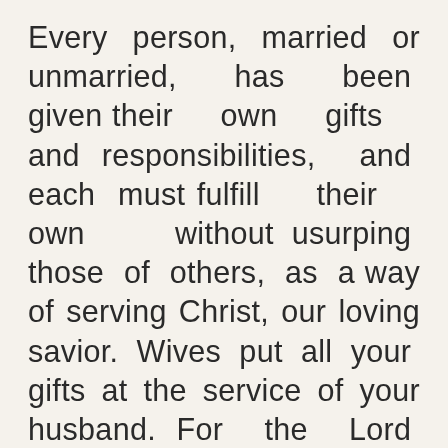Every person, married or unmarried, has been given their own gifts and responsibilities, and each must fulfill their own without usurping those of others, as a way of serving Christ, our loving savior. Wives put all your gifts at the service of your husband. For the Lord has given him responsibilities which you yourself cannot fulfill. Thus model your relationship on that of Christ and his bride, the Church. Christ dispossessed himself of every gift for the good of the Church, which is,